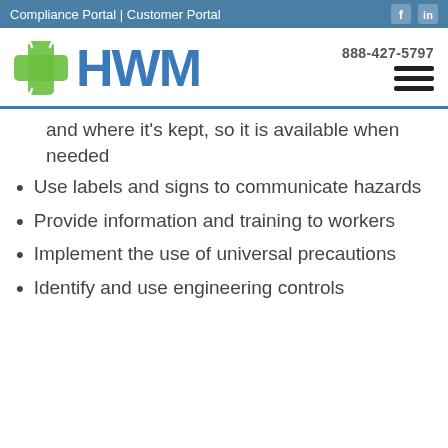Compliance Portal | Customer Portal | 888-427-5797
[Figure (logo): HWM company logo with green cross/recycle icon and blue HWM text]
and where it's kept, so it is available when needed
Use labels and signs to communicate hazards
Provide information and training to workers
Implement the use of universal precautions
Identify and use engineering controls